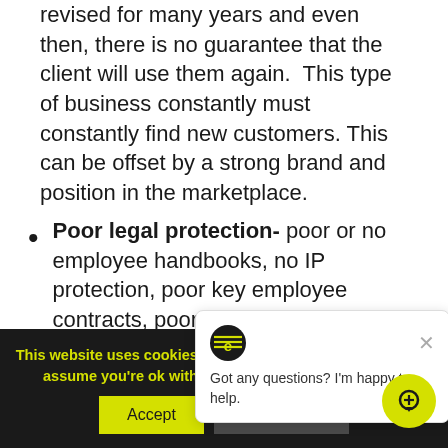revised for many years and even then, there is no guarantee that the client will use them again.  This type of business constantly must constantly find new customers. This can be offset by a strong brand and position in the marketplace.
Poor legal protection- poor or no employee handbooks, no IP protection, poor key employee contracts, poor terms and conditions etc. can have a significant impact on the val...
[Figure (screenshot): Chat popup widget with icon showing 'Got any questions? I'm happy to help.' and a close button]
This website uses cookies to improve your experience. We'll assume you're ok with this, but you can opt-out if yo...